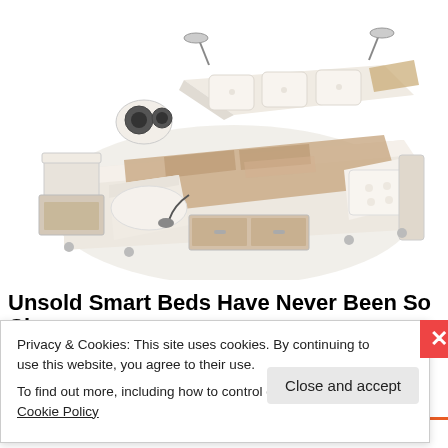[Figure (photo): A luxury smart bed with multiple features including built-in speakers, reading lights, storage drawers, reclining sections, a chaise lounge, and a side table. The bed is cream/white colored with wood accents and patterned bedding.]
Unsold Smart Beds Have Never Been So Cheap
Privacy & Cookies: This site uses cookies. By continuing to use this website, you agree to their use.
To find out more, including how to control cookies, see here: Cookie Policy